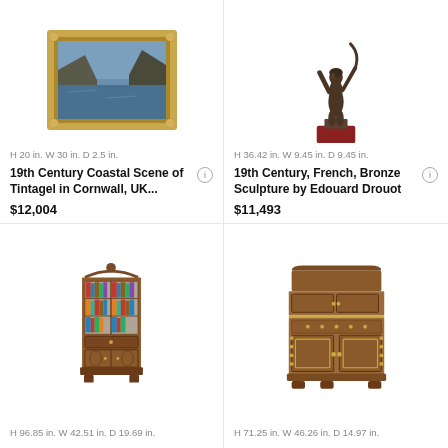[Figure (photo): Framed oil painting of a coastal scene with cliffs, sea, and figures, in an ornate gold frame]
H 20 in. W 30 in. D 2.5 in.
19th Century Coastal Scene of Tintagel in Cornwall, UK...
$12,004
[Figure (photo): Bronze sculpture of a nude figure holding a horn aloft, on a red marble base]
H 36.42 in. W 9.45 in. D 9.45 in.
19th Century, French, Bronze Sculpture by Edouard Drouot
$11,493
[Figure (photo): Mahogany glazed bookcase cabinet with carved swan neck pediment, filled with books on upper shelves and carved panel doors below]
H 96.85 in. W 42.51 in. D 19.69 in.
[Figure (photo): Victorian mahogany and brass-inlaid side cabinet with upper shelf section and lower cabinet doors with decorative studs]
H 71.25 in. W 46.26 in. D 14.97 in.